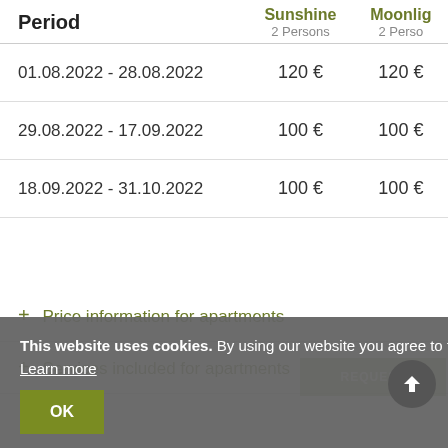| Period | Sunshine
2 Persons | Moonlight
2 Persons |
| --- | --- | --- |
| 01.08.2022 - 28.08.2022 | 120 € | 120 € |
| 29.08.2022 - 17.09.2022 | 100 € | 100 € |
| 18.09.2022 - 31.10.2022 | 100 € | 100 € |
+ Price information for apartments
+ Services included for apartments
This website uses cookies. By using our website you agree to the use of cookies. Learn more
OK